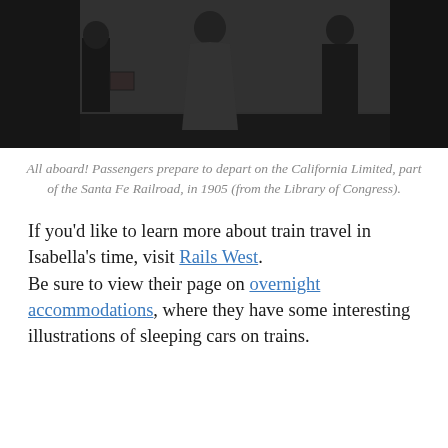[Figure (photo): Black and white historical photograph showing passengers preparing to depart on the California Limited train in 1905. Several people are visible including a woman in a long dress. A sign in the upper right reads 'THE CALIFORNIA LIMITED LOS ANGELES SAN DIEGO SAN FRANCISCO' with a cross/circle logo.]
All aboard! Passengers prepare to depart on the California Limited, part of the Santa Fe Railroad, in 1905 (from the Library of Congress).
If you'd like to learn more about train travel in Isabella's time, visit Rails West. Be sure to view their page on overnight accommodations, where they have some interesting illustrations of sleeping cars on trains.